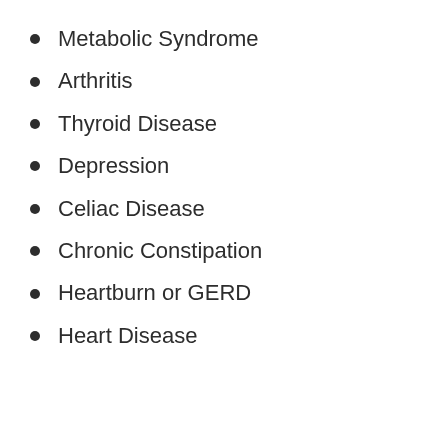Metabolic Syndrome
Arthritis
Thyroid Disease
Depression
Celiac Disease
Chronic Constipation
Heartburn or GERD
Heart Disease